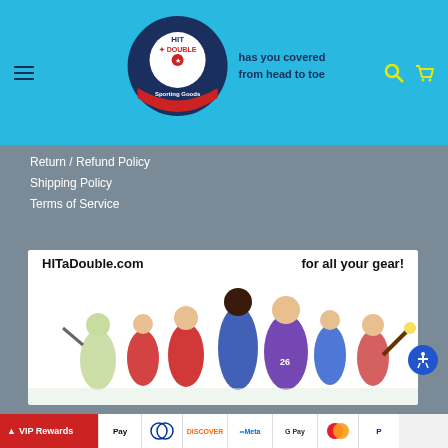[Figure (logo): Hit a Double Sporting Goods logo with baseball design and tagline 'has you covered from head to toe']
Return / Refund Policy
Shipping Policy
Terms of Service
[Figure (photo): HITaDouble.com banner showing multiple athletes from different sports with text 'HITaDouble.com for all your gear!']
© 2022 HIT a Double.
VIP Rewards | Apple Pay | Diners Club | Discover | Meta Pay | Google Pay | Mastercard | PayPal